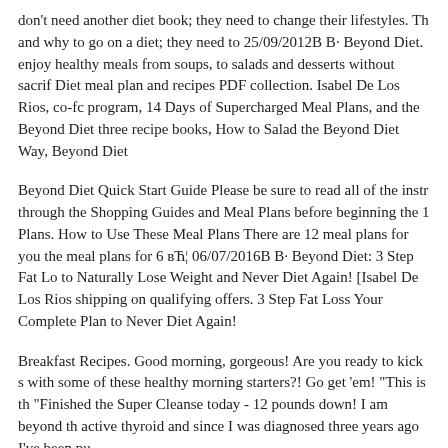don't need another diet book; they need to change their lifestyles. Th and why to go on a diet; they need to 25/09/2012B B· Beyond Diet. enjoy healthy meals from soups, to salads and desserts without sacrif Diet meal plan and recipes PDF collection. Isabel De Los Rios, co-fc program, 14 Days of Supercharged Meal Plans, and the Beyond Diet three recipe books, How to Salad the Beyond Diet Way, Beyond Diet
Beyond Diet Quick Start Guide Please be sure to read all of the instr through the Shopping Guides and Meal Plans before beginning the 1 Plans. How to Use These Meal Plans There are 12 meal plans for you the meal plans for 6 вЋ¦ 06/07/2016B B· Beyond Diet: 3 Step Fat Lo to Naturally Lose Weight and Never Diet Again! [Isabel De Los Rios shipping on qualifying offers. 3 Step Fat Loss Your Complete Plan to Never Diet Again!
Breakfast Recipes. Good morning, gorgeous! Are you ready to kick s with some of these healthy morning starters?! Go get 'em! "This is th "Finished the Super Cleanse today - 12 pounds down! I am beyond th active thyroid and since I was diagnosed three years ago I've been pu